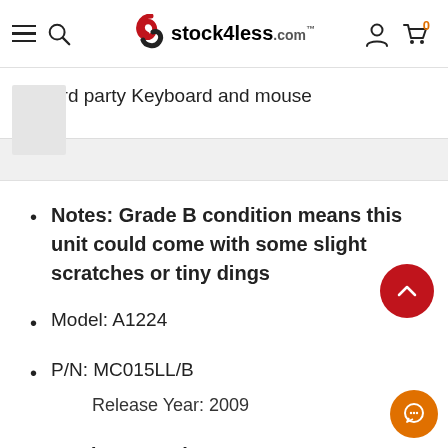stock4less.com
3rd party Keyboard and mouse
Notes: Grade B condition means this unit could come with some slight scratches or tiny dings
Model: A1224
P/N: MC015LL/B
Release Year: 2009
Product Requirements: